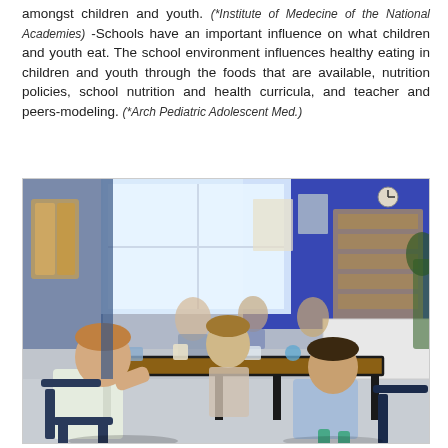amongst children and youth. (*Institute of Medecine of the National Academies) -Schools have an important influence on what children and youth eat. The school environment influences healthy eating in children and youth through the foods that are available, nutrition policies, school nutrition and health curricula, and teacher and peers-modeling. (*Arch Pediatric Adolescent Med.)
[Figure (photo): Children sitting at a table in a classroom setting, eating lunch. The classroom has blue walls, large windows letting in light, and educational materials visible in the background. Several young children are seated around a wooden table with food containers, drinks, and lunch items.]